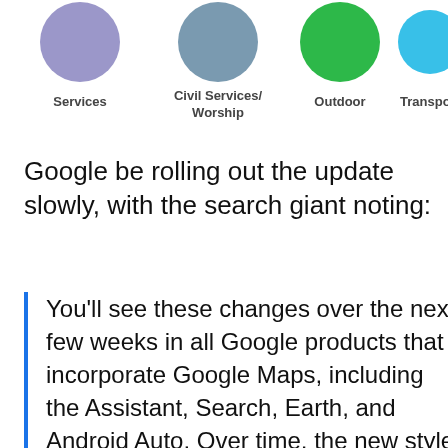[Figure (infographic): Four colored circles (icons) representing categories: Services (purple/lavender), Civil Services/Worship (blue-grey), Outdoor (green), Transport (light blue), each with a label beneath.]
Google be rolling out the update slowly, with the search giant noting:
You'll see these changes over the next few weeks in all Google products that incorporate Google Maps, including the Assistant, Search, Earth, and Android Auto. Over time, the new style will also appear in the apps, websites and experiences offered by companies that use Google Maps APIs as well.